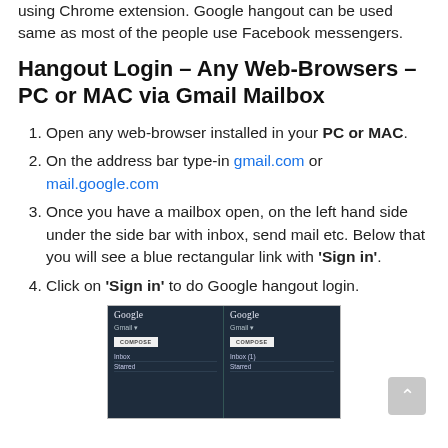using Chrome extension. Google hangout can be used same as most of the people use Facebook messengers.
Hangout Login – Any Web-Browsers – PC or MAC via Gmail Mailbox
Open any web-browser installed in your PC or MAC.
On the address bar type-in gmail.com or mail.google.com
Once you have a mailbox open, on the left hand side under the side bar with inbox, send mail etc. Below that you will see a blue rectangular link with 'Sign in'.
Click on 'Sign in' to do Google hangout login.
[Figure (screenshot): Screenshot showing two Gmail mailbox panels side by side with Google logo, Gmail label, Compose button, Inbox and Starred rows]